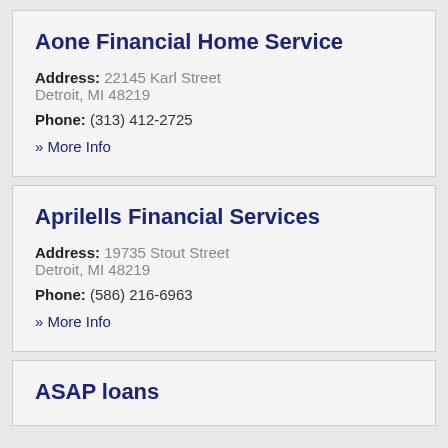Aone Financial Home Service
Address: 22145 Karl Street
Detroit, MI 48219
Phone: (313) 412-2725
» More Info
Aprilells Financial Services
Address: 19735 Stout Street
Detroit, MI 48219
Phone: (586) 216-6963
» More Info
ASAP loans